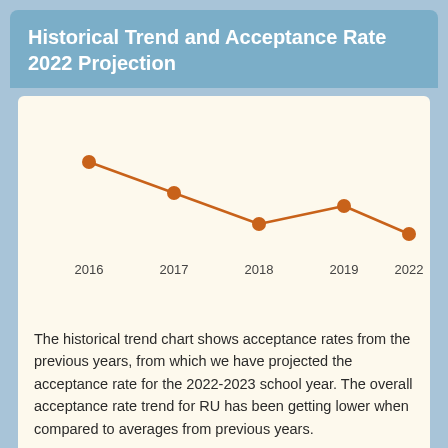Historical Trend and Acceptance Rate 2022 Projection
[Figure (line-chart): Historical Trend and Acceptance Rate 2022 Projection]
The historical trend chart shows acceptance rates from the previous years, from which we have projected the acceptance rate for the 2022-2023 school year. The overall acceptance rate trend for RU has been getting lower when compared to averages from previous years.
Acceptance Rate By Year